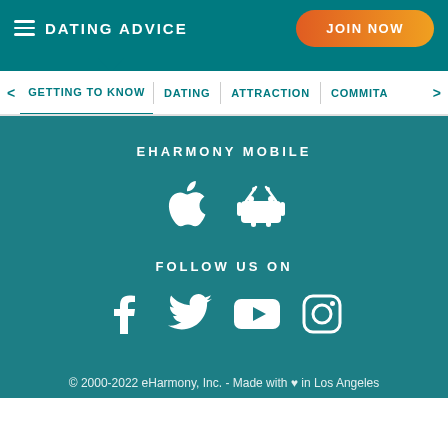DATING ADVICE
JOIN NOW
GETTING TO KNOW | DATING | ATTRACTION | COMMITA
EHARMONY MOBILE
[Figure (logo): Apple App Store and Android Google Play icons in white]
FOLLOW US ON
[Figure (logo): Social media icons: Facebook, Twitter, YouTube, Instagram in white]
© 2000-2022 eHarmony, Inc. - Made with ♥ in Los Angeles
Tested Service